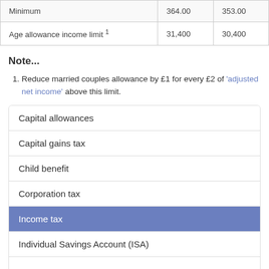|  |  |  |
| --- | --- | --- |
| Minimum | 364.00 | 353.00 |
| Age allowance income limit 1 | 31,400 | 30,400 |
Note...
1. Reduce married couples allowance by £1 for every £2 of 'adjusted net income' above this limit.
| Capital allowances |
| Capital gains tax |
| Child benefit |
| Corporation tax |
| Income tax |
| Individual Savings Account (ISA) |
|  |